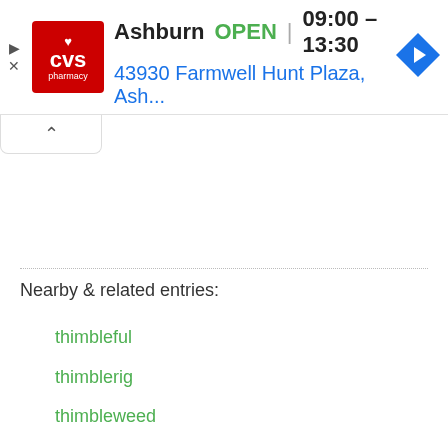[Figure (other): CVS Pharmacy advertisement banner showing store location in Ashburn, open hours 09:00-13:30, address 43930 Farmwell Hunt Plaza, Ash..., with CVS logo and navigation arrow icon]
Nearby & related entries:
thimbleful
thimblerig
thimbleweed
thimerosal
thimerosal-free
thin air
thin client